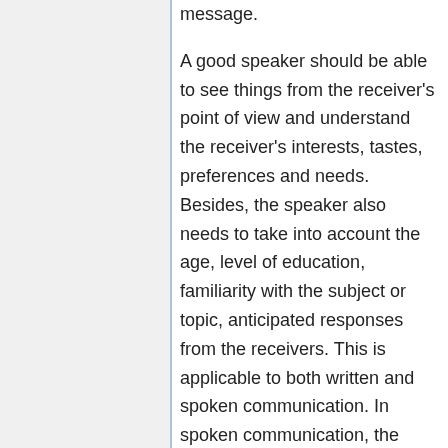message.
A good speaker should be able to see things from the receiver's point of view and understand the receiver's interests, tastes, preferences and needs. Besides, the speaker also needs to take into account the age, level of education, familiarity with the subject or topic, anticipated responses from the receivers. This is applicable to both written and spoken communication. In spoken communication, the audience may or may not be physically present but in written communication the audience is either imagined or hypothetical, but it is very much there. It is not enough if we know the audience, we should also have respect for them and have the right attitude towards them in order to make communication effective. At the